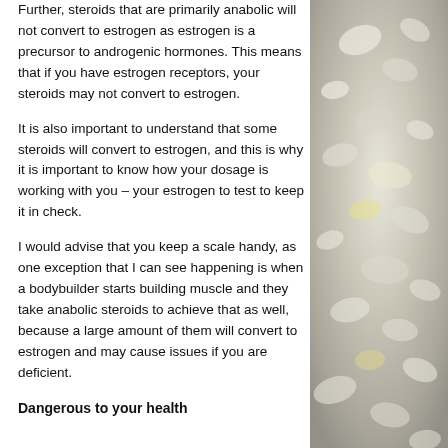Further, steroids that are primarily anabolic will not convert to estrogen as estrogen is a precursor to androgenic hormones. This means that if you have estrogen receptors, your steroids may not convert to estrogen.
It is also important to understand that some steroids will convert to estrogen, and this is why it is important to know how your dosage is working with you – your estrogen to test to keep it in check.
I would advise that you keep a scale handy, as one exception that I can see happening is when a bodybuilder starts building muscle and they take anabolic steroids to achieve that as well, because a large amount of them will convert to estrogen and may cause issues if you are deficient.
Dangerous to your health
[Figure (photo): Blurred background photo of white and cream colored pills or stones scattered together]